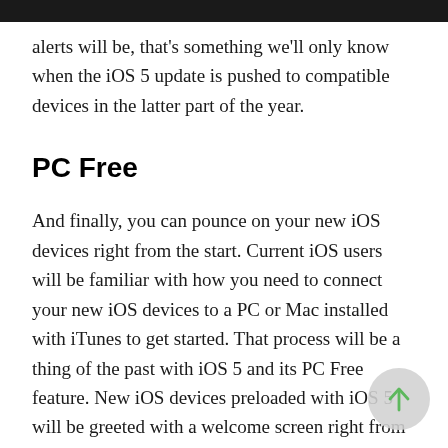alerts will be, that's something we'll only know when the iOS 5 update is pushed to compatible devices in the latter part of the year.
PC Free
And finally, you can pounce on your new iOS devices right from the start. Current iOS users will be familiar with how you need to connect your new iOS devices to a PC or Mac installed with iTunes to get started. That process will be a thing of the past with iOS 5 and its PC Free feature. New iOS devices preloaded with iOS 5 will be greeted with a welcome screen right from the beginning, and you can simply connect to your iTunes account and get started.